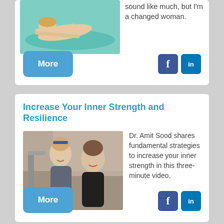[Figure (photo): Woman doing yoga stretch on a teal mat, lying forward with arms extended]
sound like much, but I'm a changed woman.
More
[Figure (logo): Facebook and LinkedIn social share icons]
Increase Your Inner Strength and Resilience
[Figure (photo): Two young women smiling outdoors near metal equipment, one with sunglasses on her head]
Dr. Amit Sood shares fundamental strategies to increase your inner strength in this three-minute video.
More
[Figure (logo): Facebook and LinkedIn social share icons]